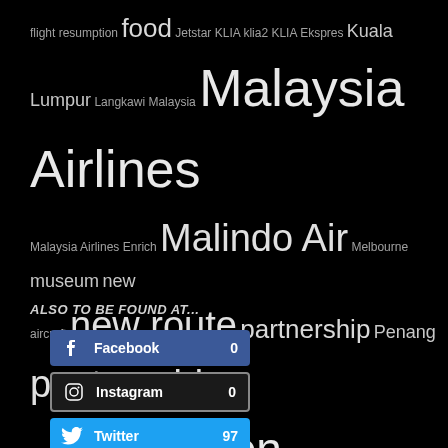[Figure (infographic): Tag cloud on black background with terms: flight resumption, food, Jetstar, KLIA, klia2, KLIA Ekspres, Kuala Lumpur, Langkawi, Malaysia, Malaysia Airlines, Malaysia Airlines Enrich, Malindo Air, Melbourne, museum, new aircraft, new route, partnership, Penang, post-covid travel, promotion, public transport, Qantas, sale, sale fare, sale fares, Scoot, Singapore, Singapore Airlines, things to do, Virgin Australia]
ALSO TO BE FOUND AT...
[Figure (infographic): Social media follow buttons: Facebook 0, Instagram 0, Twitter 97, Youtube 349]